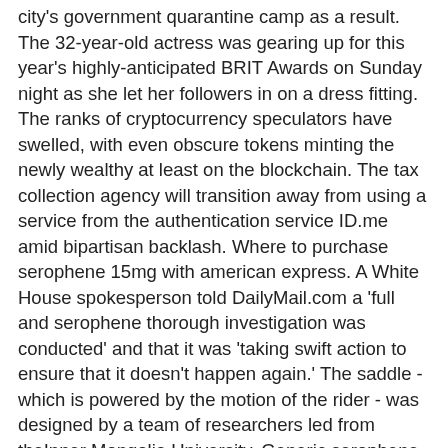city's government quarantine camp as a result. The 32-year-old actress was gearing up for this year's highly-anticipated BRIT Awards on Sunday night as she let her followers in on a dress fitting. The ranks of cryptocurrency speculators have swelled, with even obscure tokens minting the newly wealthy at least on the blockchain. The tax collection agency will transition away from using a service from the authentication service ID.me amid bipartisan backlash. Where to purchase serophene 15mg with american express. A White House spokesperson told DailyMail.com a 'full and serophene thorough investigation was conducted' and that it was 'taking swift action to ensure that it doesn't happen again.' The saddle - which is powered by the motion of the rider - was designed by a team of researchers led from theInner Mongolia University. Generic serophene how to order online. An imaginative boy who loves comic books now has a graphic novel of his own on the shelves of his local library. The Ukrainian-born model, 29, revealed the happy news on Instagram on Monday, sharing a video of her sonDominic wearing a T-shirt with the slogan 'I'm going to be a big brother' What can cure pregnancy ovarian stimulation. Phillip Schofield made a virtual appearance on Monday's This Morning after revealing he has tested positive for Covid for the seventh day in a row. Langer, 51, turned down a short-term contract extension with Cricket Australia on Thursday, leaving his post as men's team coach after four successful years - in which he won the T20 World Cup Outsiders entering the